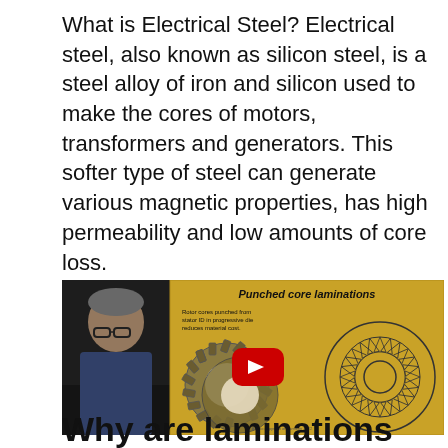What is Electrical Steel? Electrical steel, also known as silicon steel, is a steel alloy of iron and silicon used to make the cores of motors, transformers and generators. This softer type of steel can generate various magnetic properties, has high permeability and low amounts of core loss.
[Figure (screenshot): Video thumbnail/screenshot showing a presentation slide about 'Punched core laminations' with a YouTube play button overlay. Left side shows a person (instructor) on dark background. Right side shows a golden slide with text 'Rotor cores punched from stator ID in progressive die reduces material cost.' and images of motor lamination components.]
Why are laminations